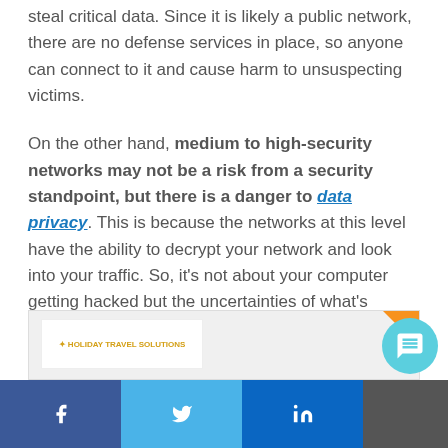steal critical data. Since it is likely a public network, there are no defense services in place, so anyone can connect to it and cause harm to unsuspecting victims.
On the other hand, medium to high-security networks may not be a risk from a security standpoint, but there is a danger to data privacy. This is because the networks at this level have the ability to decrypt your network and look into your traffic. So, it's not about your computer getting hacked but the uncertainties of what's happening with your company data while you're connected to the network.
[Figure (other): Partial view of a webpage or document with a logo area, orange corner badge, and a teal chat bubble icon]
Social share bar with Facebook, Twitter, LinkedIn buttons